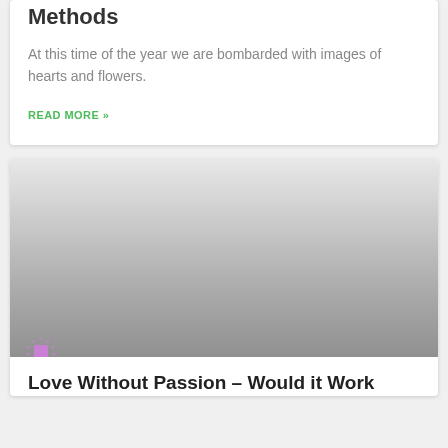Methods
At this time of the year we are bombarded with images of hearts and flowers.
READ MORE »
[Figure (photo): A large image area with a gray gradient, suggesting a placeholder or partially loaded image. A small purple/violet icon with a dotted border is visible in the lower-left corner.]
Love Without Passion – Would it Work